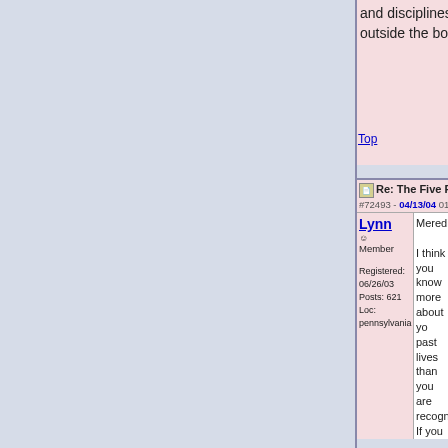and disciplines. I like thinking outside the box.
Top
Re: The Five People You Meet In Heaven
#72493 - 04/13/04 01:54
Lynn  Member
Registered: 06/26/03
Posts: 621
Loc: pennsylvania
Meredith,

I think you know more about your past lives than you are recognizing. If you had a trusted friend who would be with you when you had "your glimpses" in past lives it would help. Your friend could ask simple questions like, "What is on your feet", "Are you wearing pants?", "Is it cold", What is to your left" etc.

All of this will help you "see" more of your expereience. You are VERY talented to be able to slide into a past life expereince without any guidance. I wish I could sit with you and ask the questions